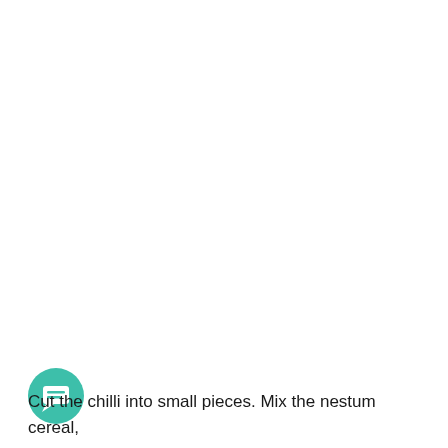[Figure (illustration): A teal/green circular chat bubble icon with a white message/lines symbol inside, positioned in the lower-left area of an otherwise blank white page.]
Cut the chilli into small pieces. Mix the nestum cereal,